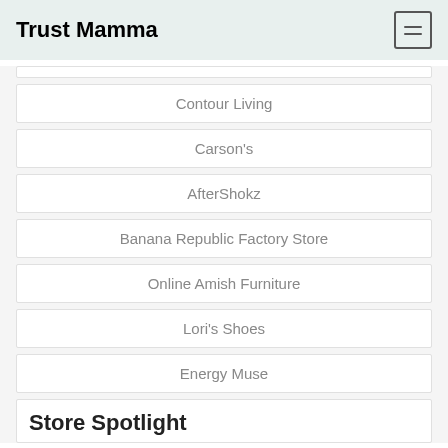Trust Mamma
Contour Living
Carson's
AfterShokz
Banana Republic Factory Store
Online Amish Furniture
Lori's Shoes
Energy Muse
Store Spotlight